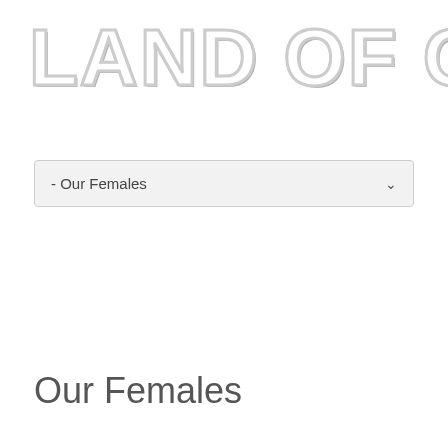LAND OF OZ K9
- Our Females
Our Females